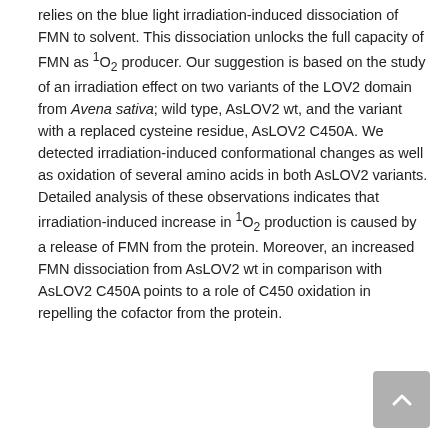relies on the blue light irradiation-induced dissociation of FMN to solvent. This dissociation unlocks the full capacity of FMN as ¹O₂ producer. Our suggestion is based on the study of an irradiation effect on two variants of the LOV2 domain from Avena sativa; wild type, AsLOV2 wt, and the variant with a replaced cysteine residue, AsLOV2 C450A. We detected irradiation-induced conformational changes as well as oxidation of several amino acids in both AsLOV2 variants. Detailed analysis of these observations indicates that irradiation-induced increase in ¹O₂ production is caused by a release of FMN from the protein. Moreover, an increased FMN dissociation from AsLOV2 wt in comparison with AsLOV2 C450A points to a role of C450 oxidation in repelling the cofactor from the protein.